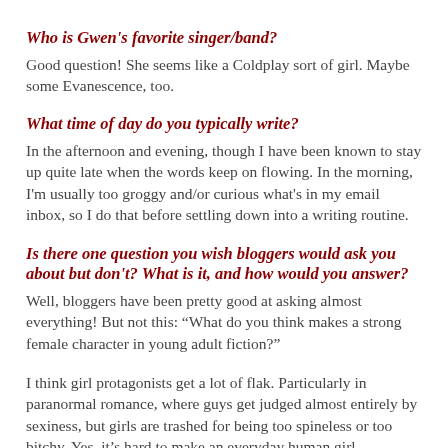Who is Gwen's favorite singer/band?
Good question! She seems like a Coldplay sort of girl. Maybe some Evanescence, too.
What time of day do you typically write?
In the afternoon and evening, though I have been known to stay up quite late when the words keep on flowing. In the morning, I'm usually too groggy and/or curious what's in my email inbox, so I do that before settling down into a writing routine.
Is there one question you wish bloggers would ask you about but don't? What is it, and how would you answer?
Well, bloggers have been pretty good at asking almost everything! But not this: “What do you think makes a strong female character in young adult fiction?”
I think girl protagonists get a lot of flak. Particularly in paranormal romance, where guys get judged almost entirely by sexiness, but girls are trashed for being too spineless or too bitchy. Yes, it’s hard to make an everyday human girl